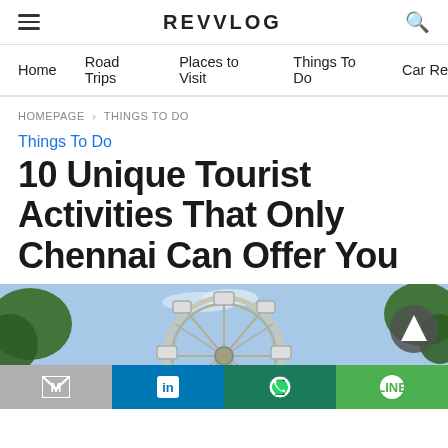REVVLOG
Home | Road Trips | Places to Visit | Things To Do | Car Re
HOMEPAGE › THINGS TO DO
Things To Do
10 Unique Tourist Activities That Only Chennai Can Offer You
[Figure (photo): Ferris wheel with blue sky, trees visible on sides]
[Figure (infographic): Social share bar with Gmail (M), LinkedIn (in), WhatsApp, and LINE icons]